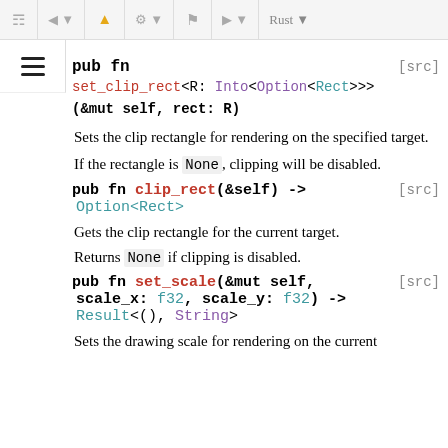Rust [toolbar/navigation bar]
pub fn set_clip_rect<R: Into<Option<Rect>>>(&mut self, rect: R)
Sets the clip rectangle for rendering on the specified target.
If the rectangle is None, clipping will be disabled.
pub fn clip_rect(&self) -> Option<Rect> [src]
Gets the clip rectangle for the current target.
Returns None if clipping is disabled.
pub fn set_scale(&mut self, scale_x: f32, scale_y: f32) -> Result<(), String> [src]
Sets the drawing scale for rendering on the current